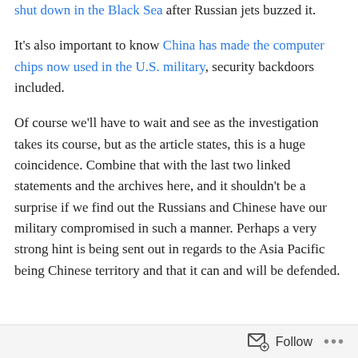shut down in the Black Sea after Russian jets buzzed it.
It's also important to know China has made the computer chips now used in the U.S. military, security backdoors included.
Of course we'll have to wait and see as the investigation takes its course, but as the article states, this is a huge coincidence. Combine that with the last two linked statements and the archives here, and it shouldn't be a surprise if we find out the Russians and Chinese have our military compromised in such a manner. Perhaps a very strong hint is being sent out in regards to the Asia Pacific being Chinese territory and that it can and will be defended.
Follow ···